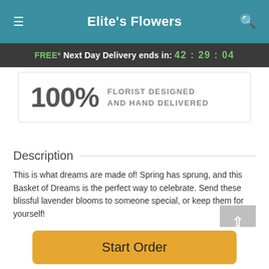Elite's Flowers
FREE* Next Day Delivery ends in: 42:29:04
100% FLORIST DESIGNED AND HAND DELIVERED
Description
This is what dreams are made of! Spring has sprung, and this Basket of Dreams is the perfect way to celebrate. Send these blissful lavender blooms to someone special, or keep them for yourself!
An assortment of purple-hued roses, daisies, lilies, and
Start Order